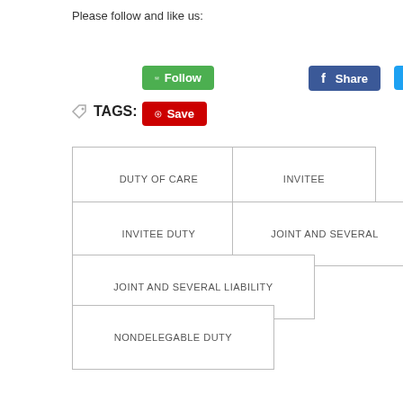Please follow and like us:
[Figure (infographic): Social media buttons: Follow (green), Share on Facebook (blue), Tweet (Twitter blue), Save on Pinterest (red)]
TAGS:
DUTY OF CARE
INVITEE
INVITEE DUTY
JOINT AND SEVERAL
JOINT AND SEVERAL LIABILITY
NONDELEGABLE DUTY
[Figure (infographic): Contact Us Now banner with headset icon circle and text: CONTACT US NOW / Free Consultation]